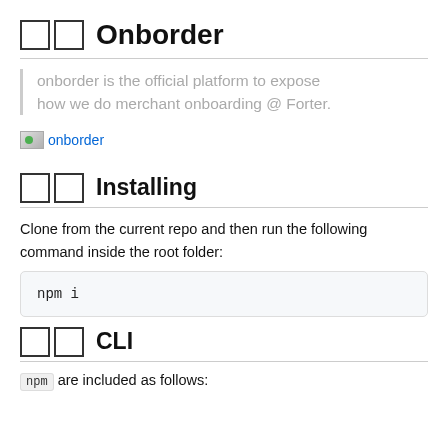□□ Onborder
onborder is the official platform to expose how we do merchant onboarding @ Forter.
[Figure (other): Badge image link labeled 'onborder']
□□ Installing
Clone from the current repo and then run the following command inside the root folder:
npm i
□□ CLI
npm are included as follows: